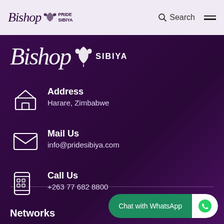Bishop Pride Sibiya — Navigation bar with Search and menu
[Figure (logo): Bishop Pride Sibiya logo in large white script on dark purple background]
Address
Harare, Zimbabwe
Mail Us
info@pridesibiya.com
Call Us
+263 77 682 8800
Networks